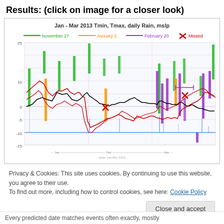Results:  (click on image for a closer look)
[Figure (continuous-plot): Line chart titled 'Jan - Mar 2013 Tmin, Tmax, daily Rain, mslp' showing temperature min/max lines (black), red curves, green/orange/purple vertical bars representing rain, and a flat blue line. Legend shows: November 27 (green), January 2 (orange), February 20 (purple), Missed (red X). Y-axis ranges from approximately -15 to 25. X-axis shows dates Jan through Mar 2013.]
Privacy & Cookies: This site uses cookies. By continuing to use this website, you agree to their use.
To find out more, including how to control cookies, see here: Cookie Policy
Close and accept
Every predicted date matches events often exactly, mostly